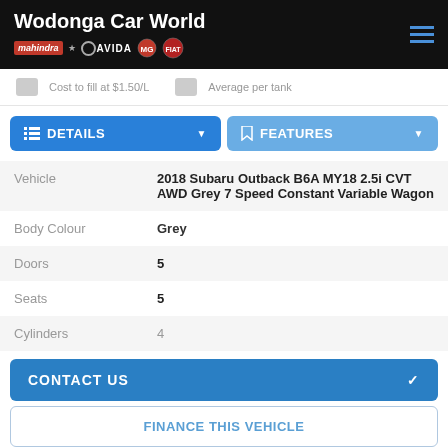Wodonga Car World
Cost to fill at $1.50/L    Average per tank
DETAILS   FEATURES
| Field | Value |
| --- | --- |
| Vehicle | 2018 Subaru Outback B6A MY18 2.5i CVT AWD Grey 7 Speed Constant Variable Wagon |
| Body Colour | Grey |
| Doors | 5 |
| Seats | 5 |
| Cylinders | 4 |
CONTACT US
FINANCE THIS VEHICLE